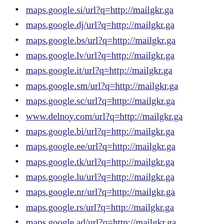maps.google.si/url?q=http://mailgkr.ga
maps.google.dj/url?q=http://mailgkr.ga
maps.google.bs/url?q=http://mailgkr.ga
maps.google.lv/url?q=http://mailgkr.ga
maps.google.it/url?q=http://mailgkr.ga
maps.google.sm/url?q=http://mailgkr.ga
maps.google.sc/url?q=http://mailgkr.ga
www.delnoy.com/url?q=http://mailgkr.ga
maps.google.bi/url?q=http://mailgkr.ga
maps.google.ee/url?q=http://mailgkr.ga
maps.google.tk/url?q=http://mailgkr.ga
maps.google.lu/url?q=http://mailgkr.ga
maps.google.nr/url?q=http://mailgkr.ga
maps.google.rs/url?q=http://mailgkr.ga
maps.google.ad/url?q=http://mailgkr.ga
maps.google.vu/url?q=http://mailgkr.ga
plus.gngjd.com/url?q=http://mailgkr.ga
maps.google.ge/url?q=http://mailgkr.ga
maps.google.de/url?q=http://mailgkr.ga